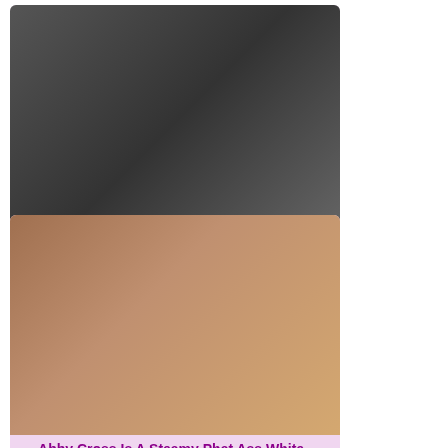[Figure (photo): Video thumbnail showing explicit adult content]
Ultra-Cute Fuckfest Kitty Gets Her..
👁 86   🕐 6:14
[Figure (photo): Video thumbnail showing explicit adult content]
Abby Cross Is A Steamy Phat Ass White..
👁 382   🕐 7:55